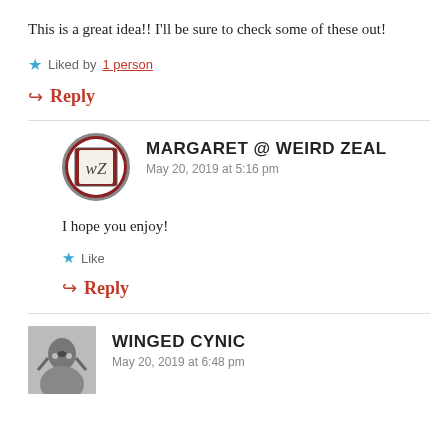This is a great idea!! I'll be sure to check some of these out!
Liked by 1 person
↳ Reply
MARGARET @ WEIRD ZEAL
May 20, 2019 at 5:16 pm
I hope you enjoy!
Like
↳ Reply
WINGED CYNIC
May 20, 2019 at 6:48 pm